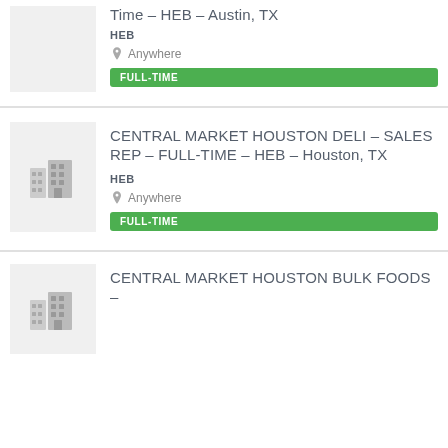Time – HEB – Austin, TX
HEB
Anywhere
FULL-TIME
CENTRAL MARKET HOUSTON DELI – SALES REP – FULL-TIME – HEB – Houston, TX
HEB
Anywhere
FULL-TIME
CENTRAL MARKET HOUSTON BULK FOODS –